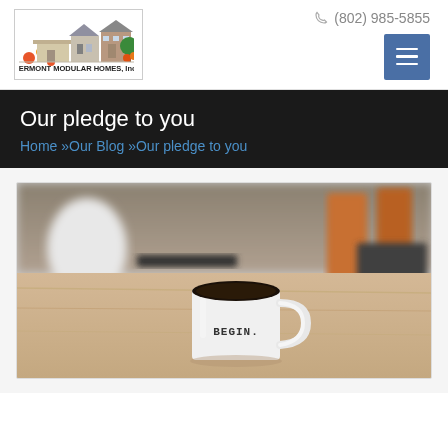[Figure (logo): Vermont Modular Homes Inc. logo with illustrated houses (modular/colonial styles) and text 'VERMONT MODULAR HOMES, Inc.']
(802) 985-5855
[Figure (other): Hamburger menu button (three horizontal lines) in a blue square]
Our pledge to you
Home »Our Blog »Our pledge to you
[Figure (photo): Blurred photo of a white coffee mug with 'BEGIN.' printed on it, sitting on a wooden table, with blurred background of chairs and shelves.]